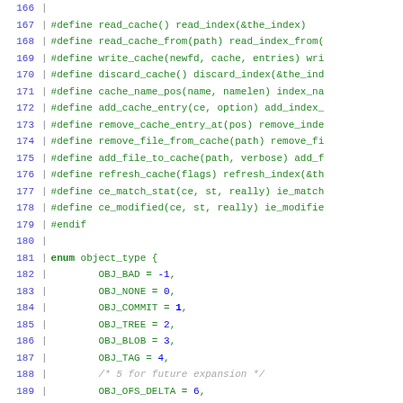Source code listing, lines 166-195, showing C preprocessor #define macros and enum object_type definition
[Figure (screenshot): C source code view with line numbers 166-195 showing #define cache macros and enum object_type with OBJ_BAD=-1 through OBJ_MAX, plus #define GIT_DIR_ENVIRONMENT and GIT_WORK_TREE_ENVIRONMENT]